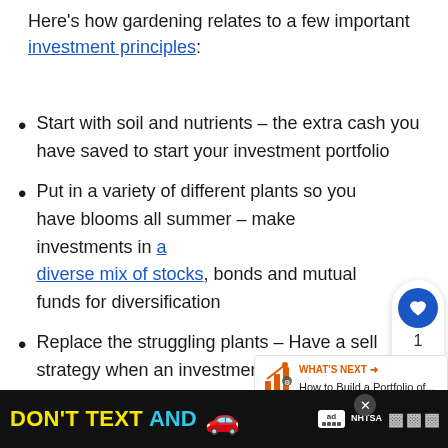Here's how gardening relates to a few important investment principles:
Start with soil and nutrients – the extra cash you have saved to start your investment portfolio
Put in a variety of different plants so you have blooms all summer – make investments in a diverse mix of stocks, bonds and mutual funds for diversification
Replace the struggling plants – Have a sell strategy when an investment doesn't perform as you hoped
[Figure (other): Advertisement banner: DON'T TEXT AND [car emoji] with NHTSA branding on black background]